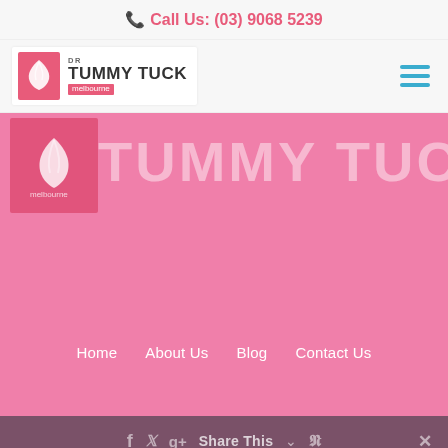Call Us: (03) 9068 5239
[Figure (logo): Dr Tummy Tuck Melbourne logo with pink leaf icon and text]
[Figure (screenshot): Pink hero banner showing large watermark text TUMMY TUCK with Melbourne logo overlay]
Home
About Us
Blog
Contact Us
Share This